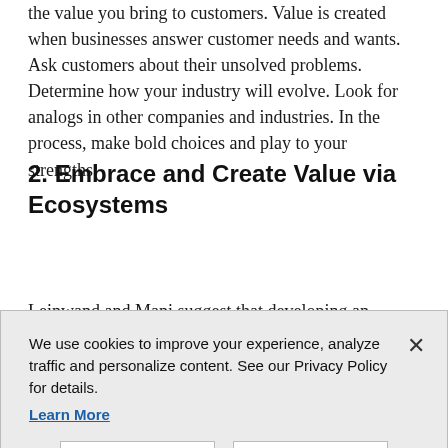the value you bring to customers. Value is created when businesses answer customer needs and wants. Ask customers about their unsolved problems. Determine how your industry will evolve. Look for analogs in other companies and industries. In the process, make bold choices and play to your strengths.
2. Embrace and Create Value via Ecosystems
Leinwand and Mani suggest that developing an ecosystem will widen a company's aperture, including
We use cookies to improve your experience, analyze traffic and personalize content. See our Privacy Policy for details. Learn More
Accept
Deny